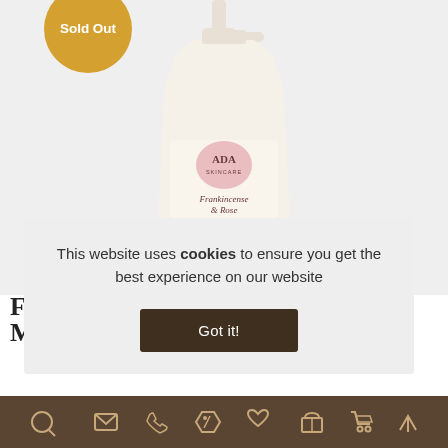[Figure (photo): Product photo of ADA Skincare Essentials Collection Frankincense & Rose Moisturising Face Lotion bottle with pump dispenser on light grey background. A gold/orange 'Sold Out' circular badge is overlaid on the top-left corner.]
This website uses cookies to ensure you get the best experience on our website
Got it!
[Figure (infographic): Brown footer bar with icon row: search (magnifying glass), envelope/mail, phone, discount/tag, heart, gift/box, shopping cart, and up-arrow icons in light brown/tan color.]